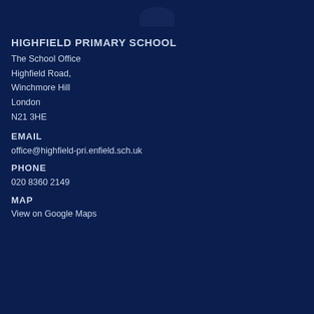HIGHFIELD PRIMARY SCHOOL
The School Office
Highfield Road,
Winchmore Hill
London
N21 3HE
EMAIL
office@highfield-pri.enfield.sch.uk
PHONE
020 8360 2149
MAP
View on Google Maps